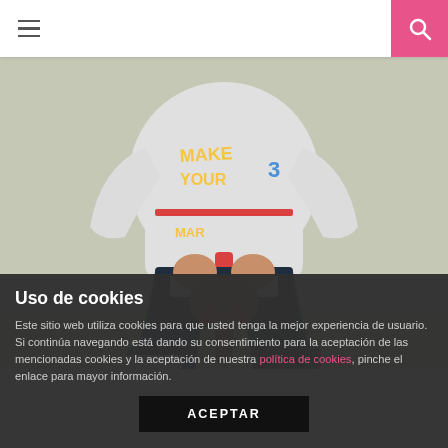[Figure (photo): A child sitting on a white stool, wearing a grey sweatshirt with yellow and blue text reading 'MAKE YOUR MARK', dark plaid trousers, and sneakers. The child has their hands clasped, no head visible. Background is a light grey-green wall.]
Uso de cookies
Este sitio web utiliza cookies para que usted tenga la mejor experiencia de usuario. Si continúa navegando está dando su consentimiento para la aceptación de las mencionadas cookies y la aceptación de nuestra política de cookies, pinche el enlace para mayor información.
ACEPTAR